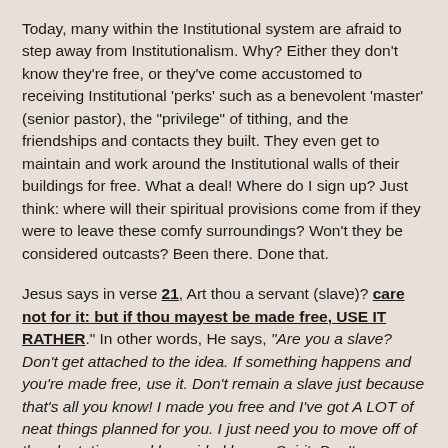Today, many within the Institutional system are afraid to step away from Institutionalism. Why? Either they don't know they're free, or they've come accustomed to receiving Institutional 'perks' such as a benevolent 'master' (senior pastor), the "privilege" of tithing, and the friendships and contacts they built. They even get to maintain and work around the Institutional walls of their buildings for free. What a deal! Where do I sign up? Just think: where will their spiritual provisions come from if they were to leave these comfy surroundings? Won't they be considered outcasts? Been there. Done that.
Jesus says in verse 21, Art thou a servant (slave)? care not for it: but if thou mayest be made free, USE IT RATHER." In other words, He says, "Are you a slave? Don't get attached to the idea. If something happens and you're made free, use it. Don't remain a slave just because that's all you know! I made you free and I've got A LOT of neat things planned for you. I just need you to move off of the plantations and be guided by my Spirit. Don't worry about provisions. I'll provide!"